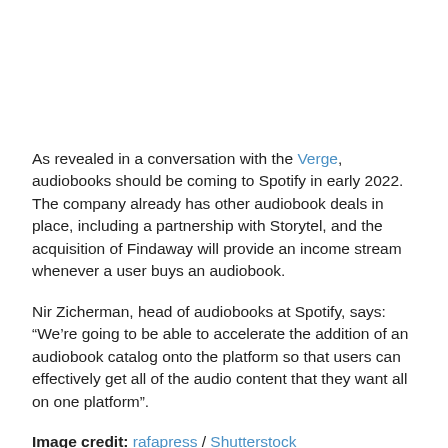As revealed in a conversation with the Verge, audiobooks should be coming to Spotify in early 2022. The company already has other audiobook deals in place, including a partnership with Storytel, and the acquisition of Findaway will provide an income stream whenever a user buys an audiobook.
Nir Zicherman, head of audiobooks at Spotify, says: “We’re going to be able to accelerate the addition of an audiobook catalog onto the platform so that users can effectively get all of the audio content that they want all on one platform”.
Image credit: rafapress / Shutterstock